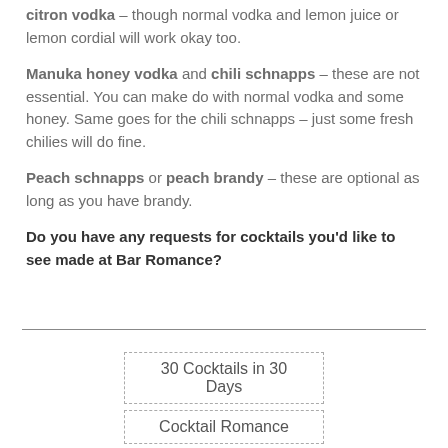citron vodka – though normal vodka and lemon juice or lemon cordial will work okay too.
Manuka honey vodka and chili schnapps – these are not essential. You can make do with normal vodka and some honey. Same goes for the chili schnapps – just some fresh chilies will do fine.
Peach schnapps or peach brandy – these are optional as long as you have brandy.
Do you have any requests for cocktails you'd like to see made at Bar Romance?
30 Cocktails in 30 Days
Cocktail Romance